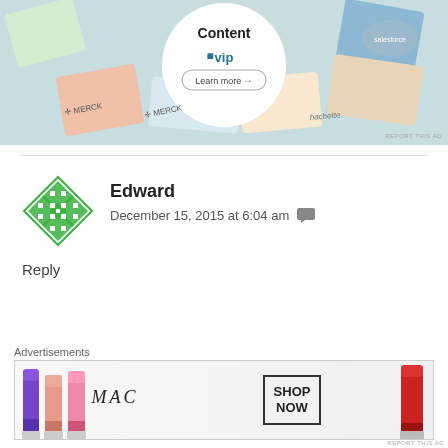[Figure (screenshot): WordPress VIP advertisement banner showing branded content with Merck, Hachette, and Salesforce logos around a white circle with WordPress VIP branding and Learn more button]
REPORT THIS AD
Edward
December 15, 2015 at 6:04 am
Reply
More like a Godless complex. Hitler
Advertisements
[Figure (screenshot): MAC cosmetics advertisement showing lipsticks in purple, salmon, and pink, with MAC logo and SHOP NOW call to action box, plus a red lipstick on the right]